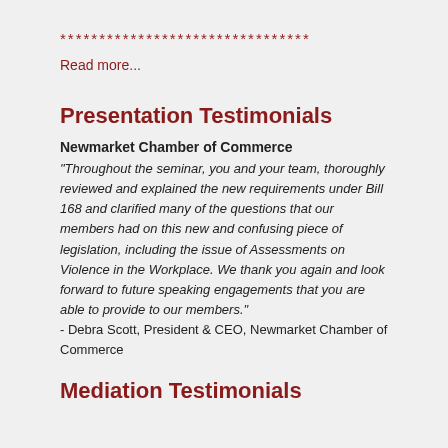********************************
Read more...
Presentation Testimonials
Newmarket Chamber of Commerce
“Throughout the seminar, you and your team, thoroughly reviewed and explained the new requirements under Bill 168 and clarified many of the questions that our members had on this new and confusing piece of legislation, including the issue of Assessments on Violence in the Workplace. We thank you again and look forward to future speaking engagements that you are able to provide to our members.” - Debra Scott, President & CEO, Newmarket Chamber of Commerce
Mediation Testimonials